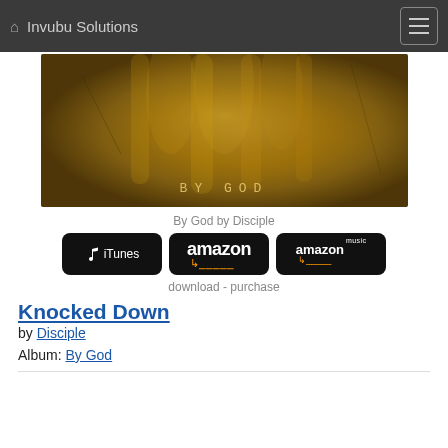Invubu Solutions
[Figure (photo): Album cover art for 'By God' by Disciple — golden/amber toned image with text 'BY GOD' at the bottom]
By God by Disciple
[Figure (other): Store buttons: iTunes, amazon, amazon music]
download - purchase
Knocked Down
by Disciple
Album: By God